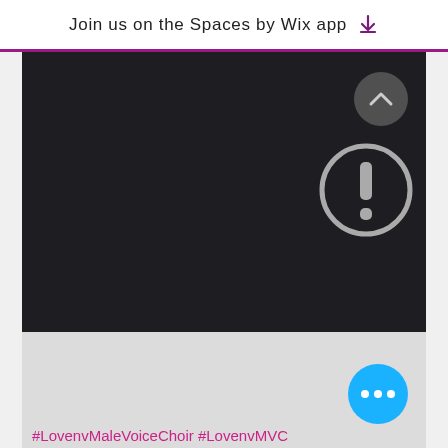Join us on the Spaces by Wix app ↓
[Figure (screenshot): Dark background media player area with a circular arrow-up navigation button in the top right and a large circular exclamation mark error/info icon in the center-right. Below is a light gray area with a blue circular more-options button (three dots) and hashtag text '#LovenvMaleVoiceChoir #LovenvMVC' at the bottom.]